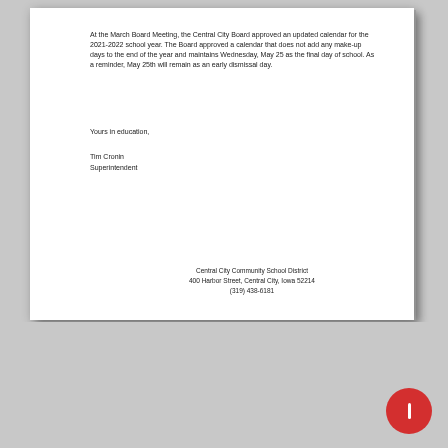At the March Board Meeting, the Central City Board approved an updated calendar for the 2021-2022 school year. The Board approved a calendar that does not add any make-up days to the end of the year and maintains Wednesday, May 25 as the final day of school. As a reminder, May 25th will remain as an early dismissal day.
Yours in education,
Tim Cronin
Superintendent
Central City Community School District
400 Harbor Street, Central City, Iowa 52214
(319) 438-6181